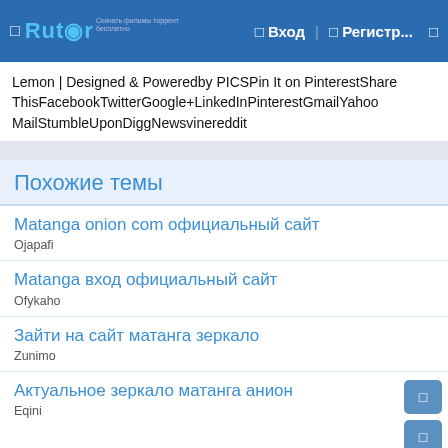Rutor — Вход — Регистр...
Lemon | Designed & Poweredby PICSPin It on PinterestShare ThisFacebookTwitterGoogle+LinkedInPinterestGmailYahoo MailStumbleUponDiggNewsvinereddit
Похожие темы
Matanga onion com официальный сайт
Ojapafi
Matanga вход официальный сайт
Ofykaho
Зайти на сайт матанга зеркало
Zunimo
Актуальное зеркало матанга анион
Eqini
Матанга сайт зеркало без torrента
Irubohoz